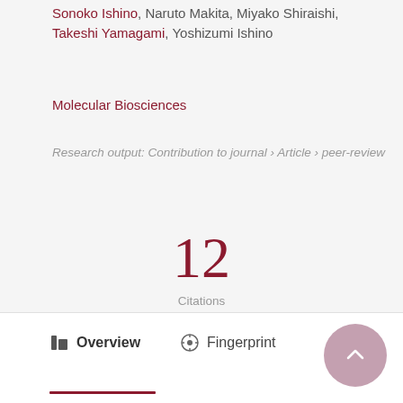Sonoko Ishino, Naruto Makita, Miyako Shiraishi, Takeshi Yamagami, Yoshizumi Ishino
Molecular Biosciences
Research output: Contribution to journal › Article › peer-review
12
Citations
(Scopus)
Overview   Fingerprint